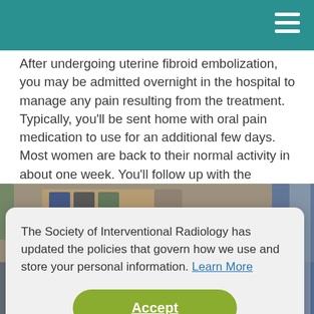After undergoing uterine fibroid embolization, you may be admitted overnight in the hospital to manage any pain resulting from the treatment. Typically, you'll be sent home with oral pain medication to use for an additional few days. Most women are back to their normal activity in about one week. You'll follow up with the interventional radiologist and your gynecologist a few weeks later.
[Figure (photo): Photo of a medical consultation scene: a bookshelf with awards and books in the background, and a person wearing blue medical scrubs partially visible on the right side.]
The Society of Interventional Radiology has updated the policies that govern how we use and store your personal information. Learn More
Accept